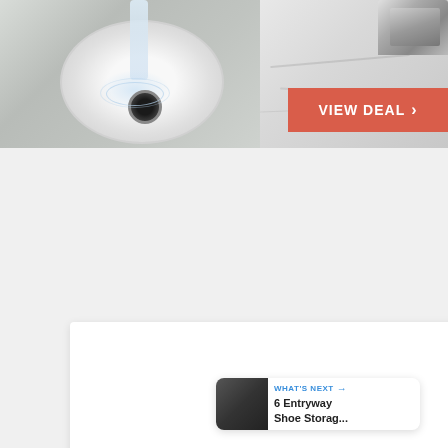[Figure (photo): Top banner photo of a white vessel sink with water flowing from a chrome faucet over a marble/granite countertop, with a red 'VIEW DEAL >' button overlay on the right side]
[Figure (screenshot): White content card with three gray pagination dots at the bottom center, a blue heart/like button showing count 2, a share button, and a 'WHAT'S NEXT' panel showing '6 Entryway Shoe Storag...' with a thumbnail image]